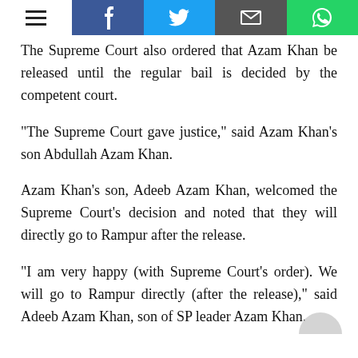Social sharing toolbar with menu, Facebook, Twitter, email, WhatsApp buttons
The Supreme Court also ordered that Azam Khan be released until the regular bail is decided by the competent court.
"The Supreme Court gave justice," said Azam Khan's son Abdullah Azam Khan.
Azam Khan's son, Adeeb Azam Khan, welcomed the Supreme Court's decision and noted that they will directly go to Rampur after the release.
"I am very happy (with Supreme Court's order). We will go to Rampur directly (after the release)," said Adeeb Azam Khan, son of SP leader Azam Khan.